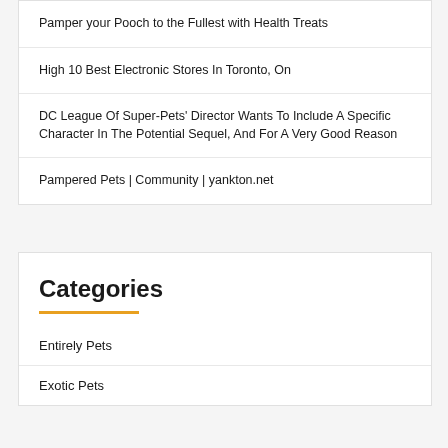Pamper your Pooch to the Fullest with Health Treats
High 10 Best Electronic Stores In Toronto, On
DC League Of Super-Pets' Director Wants To Include A Specific Character In The Potential Sequel, And For A Very Good Reason
Pampered Pets | Community | yankton.net
Categories
Entirely Pets
Exotic Pets